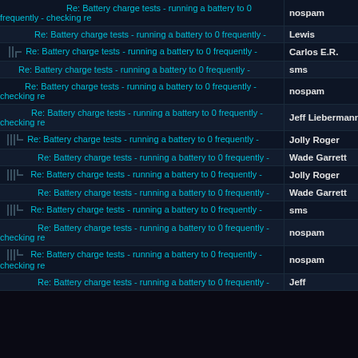Re: Battery charge tests - running a battery to 0 frequently - checking re | nospam
Re: Battery charge tests - running a battery to 0 frequently - | Lewis
Re: Battery charge tests - running a battery to 0 frequently - | Carlos E.R.
Re: Battery charge tests - running a battery to 0 frequently - | sms
Re: Battery charge tests - running a battery to 0 frequently - checking re | nospam
Re: Battery charge tests - running a battery to 0 frequently - checking re | Jeff Liebermann
Re: Battery charge tests - running a battery to 0 frequently - | Jolly Roger
Re: Battery charge tests - running a battery to 0 frequently - | Wade Garrett
Re: Battery charge tests - running a battery to 0 frequently - | Jolly Roger
Re: Battery charge tests - running a battery to 0 frequently - | Wade Garrett
Re: Battery charge tests - running a battery to 0 frequently - | sms
Re: Battery charge tests - running a battery to 0 frequently - checking re | nospam
Re: Battery charge tests - running a battery to 0 frequently - checking re | nospam
Re: Battery charge tests - running a battery to 0 frequently - | Jeff